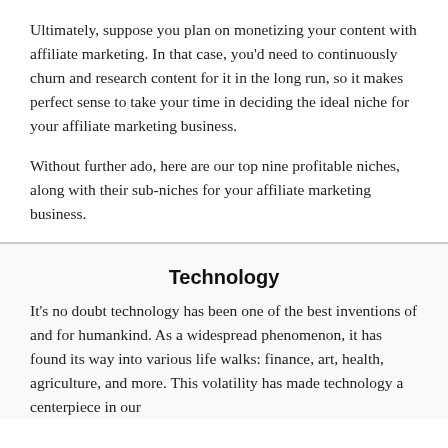Ultimately, suppose you plan on monetizing your content with affiliate marketing. In that case, you'd need to continuously churn and research content for it in the long run, so it makes perfect sense to take your time in deciding the ideal niche for your affiliate marketing business.
Without further ado, here are our top nine profitable niches, along with their sub-niches for your affiliate marketing business.
Technology
It's no doubt technology has been one of the best inventions of and for humankind. As a widespread phenomenon, it has found its way into various life walks: finance, art, health, agriculture, and more. This volatility has made technology a centerpiece in our